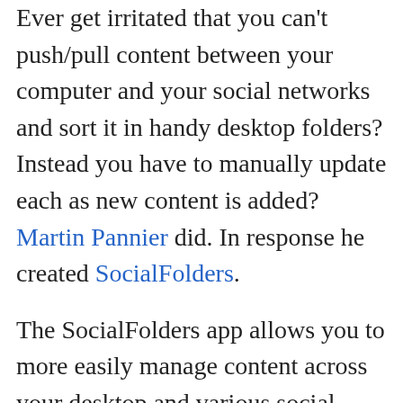Ever get irritated that you can't push/pull content between your computer and your social networks and sort it in handy desktop folders? Instead you have to manually update each as new content is added? Martin Pannier did. In response he created SocialFolders.
The SocialFolders app allows you to more easily manage content across your desktop and various social networks. It allows you to centrally manage your content, including backing up your photos, videos and docs. To put it more succinctly, MASHABLE summed it when they said – SocialFolders Is Like Dropbox for Social